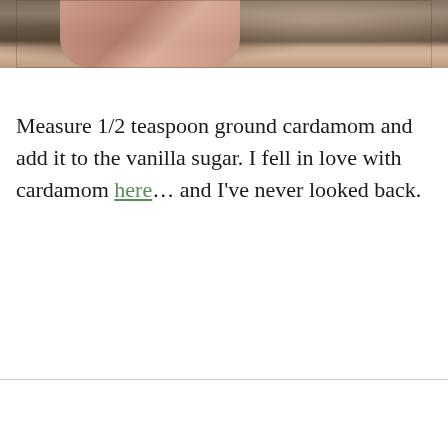[Figure (photo): Close-up photo of fingers handling food items on a wooden surface, partial view at top of page]
Measure 1/2 teaspoon ground cardamom and add it to the vanilla sugar. I fell in love with cardamom here… and I've never looked back.